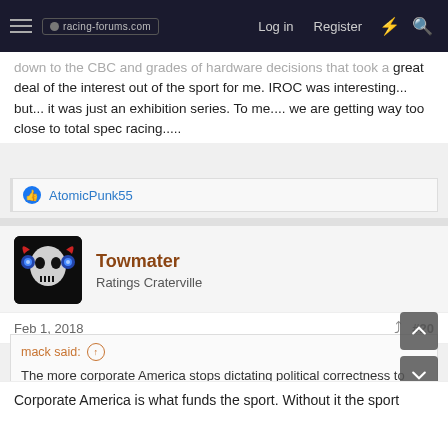racing-forums.com | Log in | Register
down to the CBC and grades of hardware decisions that took a great deal of the interest out of the sport for me. IROC was interesting... but... it was just an exhibition series. To me.... we are getting way too close to total spec racing.....
AtomicPunk55
Towmater
Ratings Craterville
Feb 1, 2018
#20
mack said:
The more corporate America stops dictating political correctness to everything from the pre show to the post show, the better off the sport will be. Just my two cents,
Corporate America is what funds the sport. Without it the sport